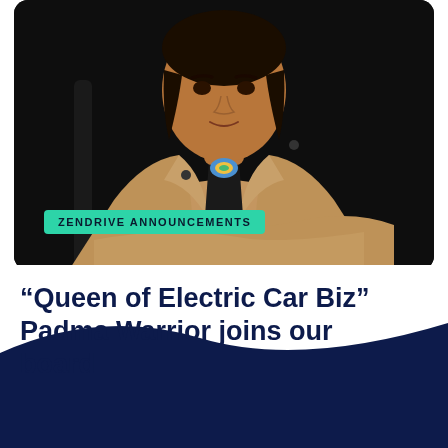[Figure (photo): Professional portrait photo of a woman in a tan/camel blazer with arms crossed, seated in a dark chair against a very dark background. A colorful brooch/pendant is visible at the neckline.]
ZENDRIVE ANNOUNCEMENTS
“Queen of Electric Car Biz” Padma Warrior joins our board